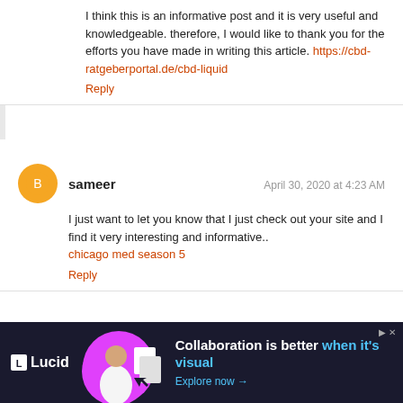I think this is an informative post and it is very useful and knowledgeable. therefore, I would like to thank you for the efforts you have made in writing this article. https://cbd-ratgeberportal.de/cbd-liquid
Reply
sameer    April 30, 2020 at 4:23 AM
I just want to let you know that I just check out your site and I find it very interesting and informative.. chicago med season 5
Reply
To leave a comment, click the button below to sign in with Google.
[Figure (screenshot): Sign in with Google button (blue button partially visible)]
[Figure (infographic): Lucid advertisement banner: dark background, Lucid logo on left, person with documents illustration in magenta circle, text 'Collaboration is better when it's visual. Explore now →']